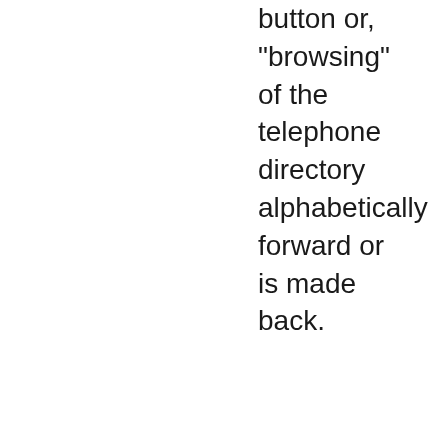button or, "browsing" of the telephone directory alphabetically forward or is made back.
If the button or is pressed more than one second, the accelerated "browsing"